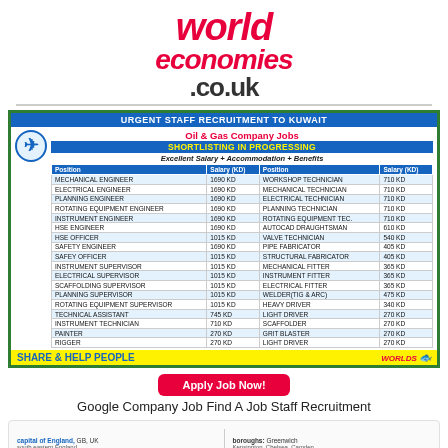world economies .co.uk
[Figure (infographic): Oil & Gas Company Jobs recruitment advertisement for Kuwait. Lists positions and salaries in KD. Positions include Mechanical Engineer 1690 KD, Electrical Engineer 1690 KD, Planning Engineer 1690 KD, Rotating Equipment Engineer 1690 KD, Instrument Engineer 1690 KD, HSE Engineer 1690 KD, HSE Officer 1015 KD, Safety Engineer 1690 KD, Safey Officer 1015 KD, Instrument Supervisor 1015 KD, Electrical Supervisor 1015 KD, Scaffolding Supervisor 1015 KD, Planning Supervisor 1015 KD, Rotating Equipment Supervisor 1015 KD, Technical Assistant 745 KD, Instrument Technician 710 KD, Painter 270 KD, Rigger 270 KD, Workshop Technician 710 KD, Mechanical Technician 710 KD, Electrical Technician 710 KD, Planning Technician 710 KD, Rotating Equipment Tec. 710 KD, Autocad Draughtsman 610 KD, Valve Technician 540 KD, Pipe Fabricator 405 KD, Structural Fabricator 405 KD, Mechanical Fitter 365 KD, Instrument Fitter 365 KD, Electrical Fitter 365 KD, Welder(TIG & ARC) 475 KD, Heavy Driver 340 KD, Light Driver 270 KD, Scaffolder 270 KD, Grit Blaster 270 KD, Light Driver 270 KD. Footer says SHARE & HELP PEOPLE.]
Apply Job Now!
Google Company Job Find A Job Staff Recruitment
[Figure (screenshot): Partial view of a map or location info card showing: capital of England, GB, UK / boroughs: Greenwich / south eastern England / Kensington, Chelsea, Camden]